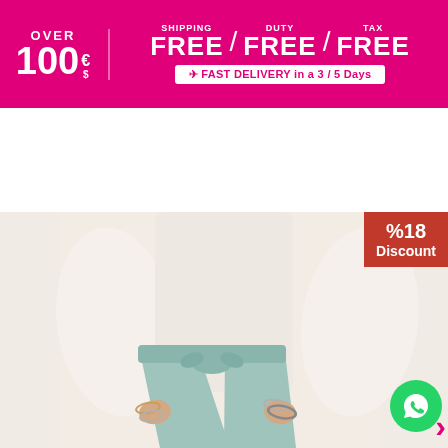[Figure (screenshot): E-commerce website screenshot for PodyumPlus showing a promotional banner with free shipping/duty/tax for orders over 100 EUR/USD, navigation bar with phone number and language selector, logo bar, and a product photo of a model wearing mint green wide-leg pants with a white blouse/cardigan, with a 18% discount badge and WhatsApp contact button]
OVER 100 € $ SHIPPING FREE / DUTY FREE / TAX FREE ✈ FAST DELIVERY in a 3 / 5 Days
0850 346 89 76  English
PODYUMPLUS
%18 Discount